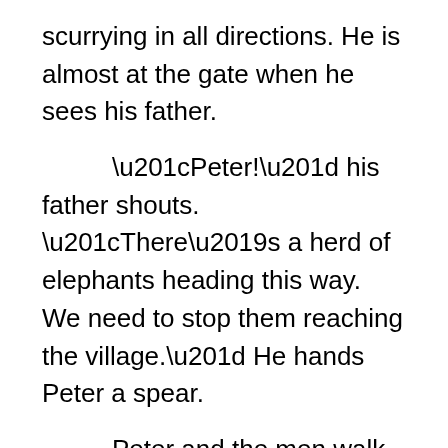scurrying in all directions. He is almost at the gate when he sees his father.
“Peter!” his father shouts. “There’s a herd of elephants heading this way. We need to stop them reaching the village.” He hands Peter a spear.
Peter and the men walk for a long time. They are tired and thirsty. They see warthog, impala, jackal and hyena, but no elephants. “Perhaps the elephants have changed direction,” suggests Peter. “Perhaps we should go home. It will be dark soon.”
But the men shake their heads and...